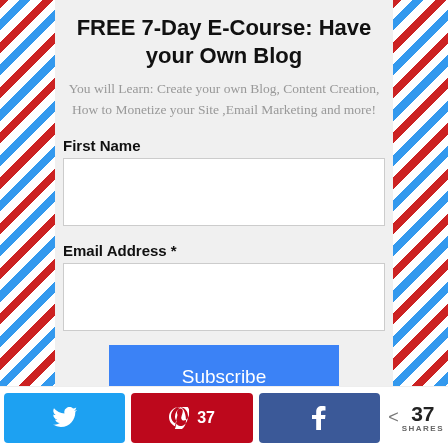FREE 7-Day E-Course: Have your Own Blog
You will Learn: Create your own Blog, Content Creation, How to Monetize your Site ,Email Marketing and more!
First Name
Email Address *
Subscribe
37 SHARES